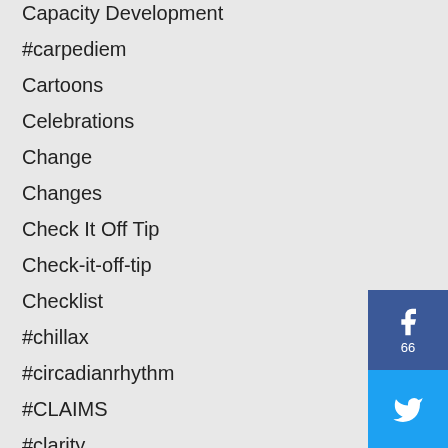Capacity Development
#carpediem
Cartoons
Celebrations
Change
Changes
Check It Off Tip
Check-it-off-tip
Checklist
#chillax
#circadianrhythm
#CLAIMS
#clarity
Coaching
Coaching Skills
Collaboration
#collaboration
#colorandmotivation
Communication
[Figure (infographic): Social sharing buttons: Facebook (66 shares), Twitter, Pinterest]